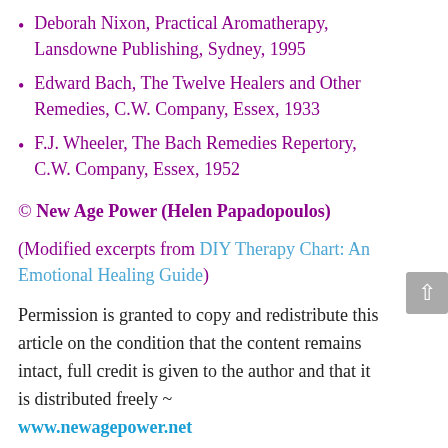Deborah Nixon, Practical Aromatherapy, Lansdowne Publishing, Sydney, 1995
Edward Bach, The Twelve Healers and Other Remedies, C.W. Company, Essex, 1933
F.J. Wheeler, The Bach Remedies Repertory, C.W. Company, Essex, 1952
© New Age Power (Helen Papadopoulos)
(Modified excerpts from DIY Therapy Chart: An Emotional Healing Guide)
Permission is granted to copy and redistribute this article on the condition that the content remains intact, full credit is given to the author and that it is distributed freely ~ www.newagepower.net